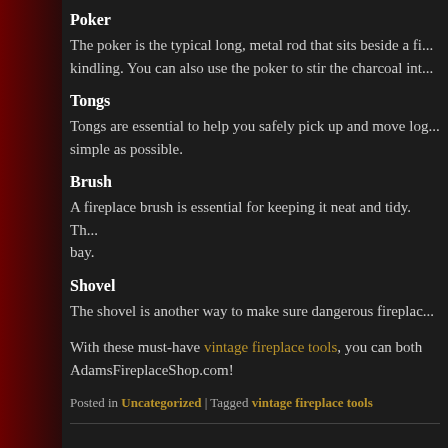Poker
The poker is the typical long, metal rod that sits beside a fi... kindling. You can also use the poker to stir the charcoal int...
Tongs
Tongs are essential to help you safely pick up and move log... simple as possible.
Brush
A fireplace brush is essential for keeping it neat and tidy. Th... bay.
Shovel
The shovel is another way to make sure dangerous fireplac...
With these must-have vintage fireplace tools, you can both... AdamsFireplaceShop.com!
Posted in Uncategorized | Tagged vintage fireplace tools
Best Placement for Your Fireplace
Posted on September 13, 2016